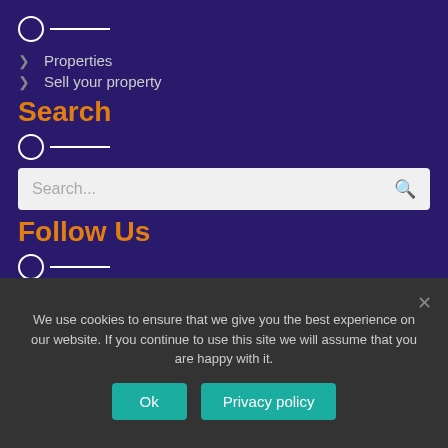[Figure (other): Circle icon with horizontal line decoration]
Properties
Sell your property
Search
[Figure (other): Circle icon with horizontal line decoration]
[Figure (other): Search input box with placeholder text 'Search...' and magnifying glass icon]
Follow Us
[Figure (other): Circle icon with horizontal line decoration]
[Figure (other): Facebook icon inside a circle]
We use cookies to ensure that we give you the best experience on our website. If you continue to use this site we will assume that you are happy with it.
Ok
Privacy policy